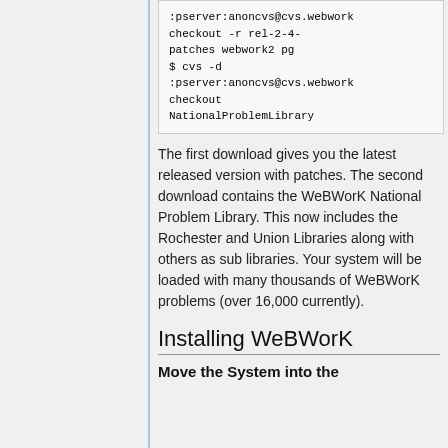:pserver:anoncvs@cvs.webwork checkout -r rel-2-4-patches webwork2 pg
$ cvs -d :pserver:anoncvs@cvs.webwork checkout NationalProblemLibrary
The first download gives you the latest released version with patches. The second download contains the WeBWorK National Problem Library. This now includes the Rochester and Union Libraries along with others as sub libraries. Your system will be loaded with many thousands of WeBWorK problems (over 16,000 currently).
Installing WeBWorK
Move the System into the